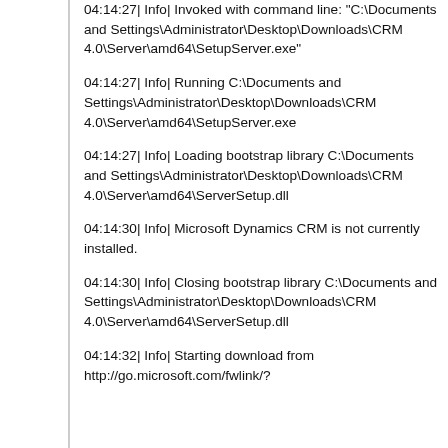04:14:27|   Info| Invoked with command line: "C:\Documents and Settings\Administrator\Desktop\Downloads\CRM 4.0\Server\amd64\SetupServer.exe"
04:14:27|   Info| Running C:\Documents and Settings\Administrator\Desktop\Downloads\CRM 4.0\Server\amd64\SetupServer.exe
04:14:27|   Info| Loading bootstrap library C:\Documents and Settings\Administrator\Desktop\Downloads\CRM 4.0\Server\amd64\ServerSetup.dll
04:14:30|   Info| Microsoft Dynamics CRM is not currently installed.
04:14:30|   Info| Closing bootstrap library C:\Documents and Settings\Administrator\Desktop\Downloads\CRM 4.0\Server\amd64\ServerSetup.dll
04:14:32|   Info| Starting download from http://go.microsoft.com/fwlink/?...